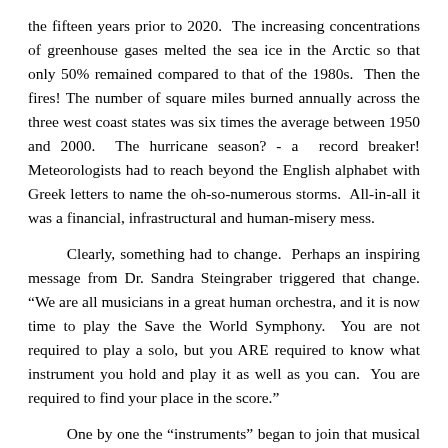the fifteen years prior to 2020.  The increasing concentrations of greenhouse gases melted the sea ice in the Arctic so that only 50% remained compared to that of the 1980s.  Then the fires! The number of square miles burned annually across the three west coast states was six times the average between 1950 and 2000.  The hurricane season? - a  record breaker! Meteorologists had to reach beyond the English alphabet with Greek letters to name the oh-so-numerous storms.  All-in-all it was a financial, infrastructural and human-misery mess.
Clearly, something had to change.  Perhaps an inspiring message from Dr. Sandra Steingraber triggered that change. “We are all musicians in a great human orchestra, and it is now time to play the Save the World Symphony.  You are not required to play a solo, but you ARE required to know what instrument you hold and play it as well as you can.  You are required to find your place in the score.”
One by one the “instruments” began to join that musical score. Clean, renewable energy and battery storage became the low-cost, preferred option for energy generation.  Then Covid-19 forced much